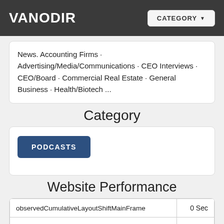VANODIR  CATEGORY
News. Accounting Firms · Advertising/Media/Communications · CEO Interviews · CEO/Board · Commercial Real Estate · General Business · Health/Biotech ...
Category
PODCASTS
Website Performance
|  |  |
| --- | --- |
| observedCumulativeLayoutShiftMainFrame | 0 Sec |
| observedTotalCumulativeLayoutShift | 0 Sec |
| … | 0.07 0 |